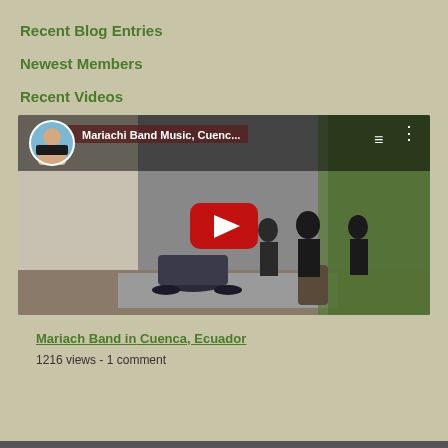Recent Blog Entries
Newest Members
Recent Videos
[Figure (screenshot): YouTube video thumbnail showing Mariachi Band Music in Cuenca with a play button overlay. Shows a street scene with motorcycles, people, and trees.]
Mariach Band in Cuenca, Ecuador
1216 views - 1 comment